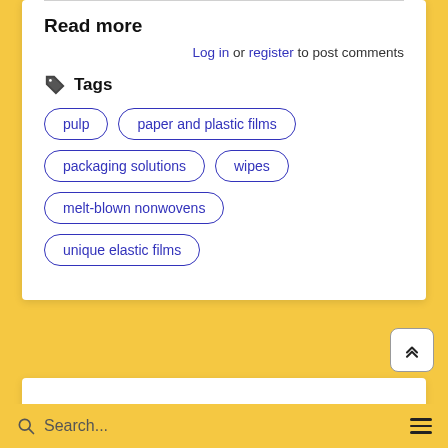Read more
Log in or register to post comments
Tags
pulp
paper and plastic films
packaging solutions
wipes
melt-blown nonwovens
unique elastic films
Search...